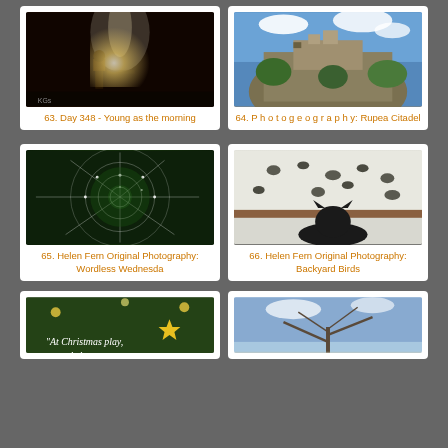[Figure (photo): Concert photo: musician on stage under spotlight in dark venue]
63. Day 348 - Young as the morning
[Figure (photo): Landscape photo: Rupea Citadel on rocky hill with blue sky and clouds]
64. P h o t o g e o g r a p h y: Rupea Citadel
[Figure (photo): Macro photo: spider web with dew drops on green plant]
65. Helen Fern Original Photography: Wordless Wednesda
[Figure (photo): Photo of birds in snowy backyard viewed through window with cat silhouette in foreground]
66. Helen Fern Original Photography: Backyard Birds
[Figure (photo): Christmas themed image with lights and text 'At Christmas play,' with star decoration]
[Figure (photo): Outdoor photo of bare tree branches against blue sky]